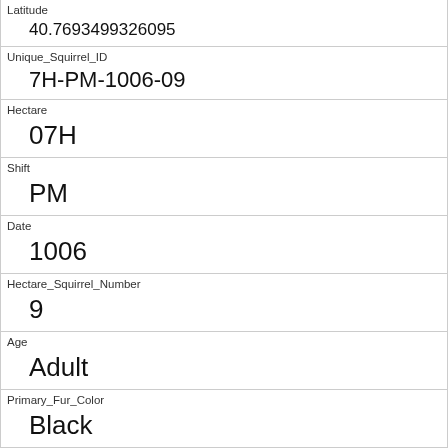| Latitude | 40.7693499326095 |
| Unique_Squirrel_ID | 7H-PM-1006-09 |
| Hectare | 07H |
| Shift | PM |
| Date | 1006 |
| Hectare_Squirrel_Number | 9 |
| Age | Adult |
| Primary_Fur_Color | Black |
| Highlight_Fur_Color |  |
| Combination_of_Primary_and_Highlight_Color | Black+ |
| Color_notes |  |